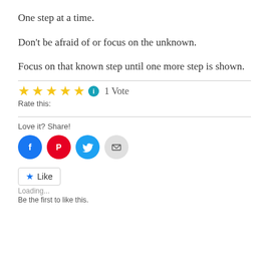One step at a time.
Don't be afraid of or focus on the unknown.
Focus on that known step until one more step is shown.
Rate this: ★★★★★ ℹ 1 Vote
Love it? Share!
[Figure (infographic): Four social share icon circles: Facebook (blue), Pinterest (red), Twitter (light blue), Email (gray)]
★ Like
Loading...
Be the first to like this.